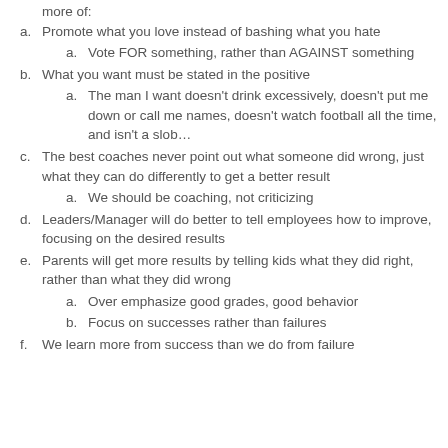more of:
a. Promote what you love instead of bashing what you hate
a. Vote FOR something, rather than AGAINST something
b. What you want must be stated in the positive
a. The man I want doesn't drink excessively, doesn't put me down or call me names, doesn't watch football all the time, and isn't a slob...
c. The best coaches never point out what someone did wrong, just what they can do differently to get a better result
a. We should be coaching, not criticizing
d. Leaders/Manager will do better to tell employees how to improve, focusing on the desired results
e. Parents will get more results by telling kids what they did right, rather than what they did wrong
a. Over emphasize good grades, good behavior
b. Focus on successes rather than failures
f. We learn more from success than we do from failure